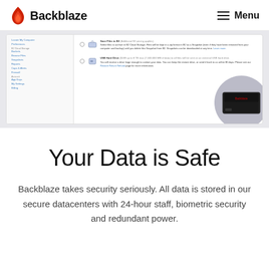Backblaze — Menu
[Figure (screenshot): Screenshot of Backblaze web interface showing sidebar navigation with options like B2 Cloud Storage, Buckets, Browse Files, Snapshots, Reports, Caps & Alerts, Firewall, Account, App Keys, My Settings, Billing; and main content area showing two restore options: 'Save Files to B2' (Additional B2 pricing applies) and 'USB Hard Drive' ($189 up to 8 TB max). A circular inset photo of a black external USB hard drive is shown on the right.]
Your Data is Safe
Backblaze takes security seriously. All data is stored in our secure datacenters with 24-hour staff, biometric security and redundant power.